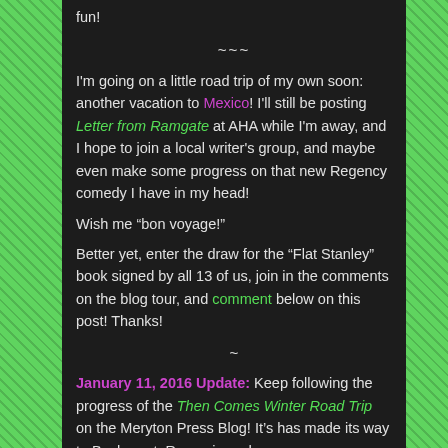fun!
~~~
I'm going on a little road trip of my own soon: another vacation to Mexico! I'll still be posting Letter from Ramgate at AHA while I'm away, and I hope to join a local writer's group, and maybe even make some progress on that new Regency comedy I have in my head!
Wish me “bon voyage!”
Better yet, enter the draw for the “Flat Stanley” book signed by all 13 of us, join in the comments on the blog tour, and comment below on this post! Thanks!
~
January 11, 2016 Update: Keep following the progress of the Then Comes Winter Road Trip on the Meryton Press Blog! It’s has made its way to Bucharest, Romania and